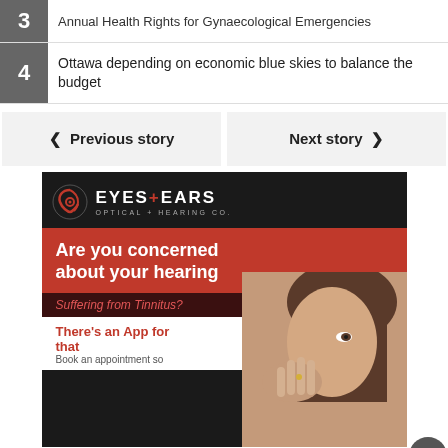3 [Article title - partially visible]
4 Ottawa depending on economic blue skies to balance the budget
< Previous story   Next story >
[Figure (infographic): Eyes+Ears Optical+Hearing Co. advertisement. Red and black ad asking 'Are you concerned about your hearing?' with subtext 'Suffering from Tinnitus?' and 'There's an App for that'. Shows woman cupping hand to ear.]
[Figure (infographic): La-Z-Boy advertisement with sofa image and text 'Sales ends soon!']